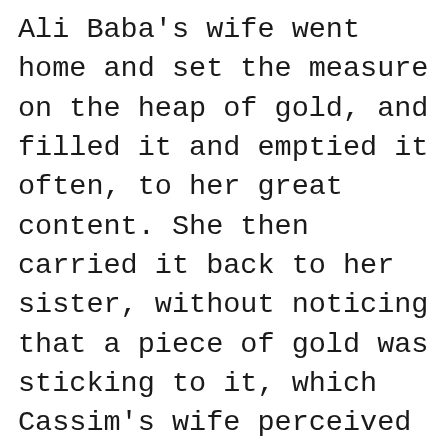Ali Baba's wife went home and set the measure on the heap of gold, and filled it and emptied it often, to her great content. She then carried it back to her sister, without noticing that a piece of gold was sticking to it, which Cassim's wife perceived directly whilst her back was turned. She grew very curious, and said to Cassim when he came home: "Cassim, your brother is richer than you. He does not count his money, he measures it." He begged her to explain this riddle, which she did by showing him the piece of money and telling him where she found it. Then Cassim grew so envious that he